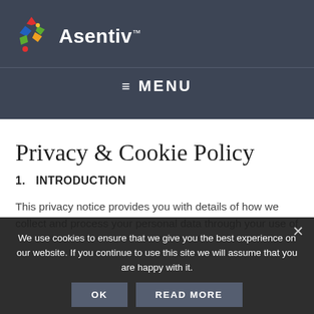[Figure (logo): Asentiv logo with colorful diamond/cross icon and white brand name text with trademark symbol]
≡ MENU
Privacy & Cookie Policy
1.  INTRODUCTION
This privacy notice provides you with details of how we collect and process your personal data through your use of our site www.asentiv.com. By providing us with your data, you warrant to us that you are over 13 years of age. Asentiv is the data controller and we are responsible for your personal data (referred to as "we", "us" or "our" in this privacy notice).
We use cookies to ensure that we give you the best experience on our website. If you continue to use this site we will assume that you are happy with it.